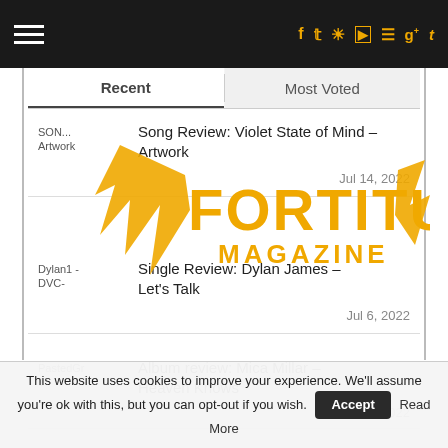Fortitude Magazine navigation bar with social icons (f, twitter, instagram, youtube, pinterest, g+, tumblr)
Recent | Most Voted
[Figure (logo): Fortitude Magazine logo in orange/yellow with wing graphic]
Song Review: Violet State of Mind – Artwork
Jul 14, 2022
Single Review: Dylan James – Let's Talk
Jul 6, 2022
Album review: Mica Millar – Heaven Knows
Jun 30, 2022
This website uses cookies to improve your experience. We'll assume you're ok with this, but you can opt-out if you wish. [Accept] [Read More]